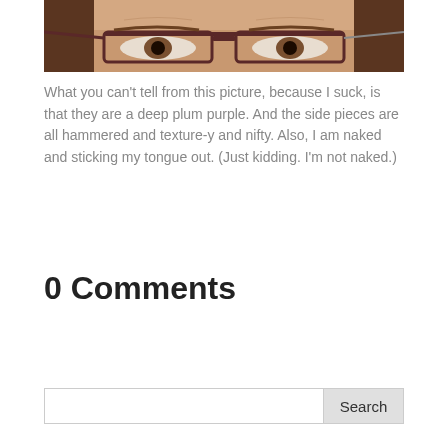[Figure (photo): Close-up photo of a person's face cropped to show eyes and forehead area, wearing glasses with dark frames. The person has brown eyes and brown hair.]
What you can't tell from this picture, because I suck, is that they are a deep plum purple. And the side pieces are all hammered and texture-y and nifty. Also, I am naked and sticking my tongue out. (Just kidding. I'm not naked.)
0 Comments
Search